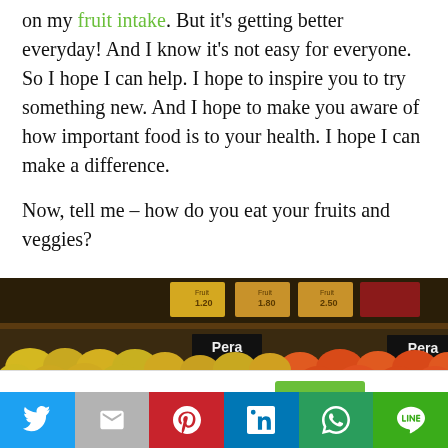on my fruit intake. But it's getting better everyday! And I know it's not easy for everyone. So I hope I can help. I hope to inspire you to try something new. And I hope to make you aware of how important food is to your health. I hope I can make a difference.
Now, tell me – how do you eat your fruits and veggies?
[Figure (photo): A fruit market stall with various fruits including pears and oranges, with price signs visible. A sign reading 'Pera' is visible.]
This website uses cookies.
Social sharing buttons: Twitter, Gmail, Pinterest, LinkedIn, WhatsApp, LINE